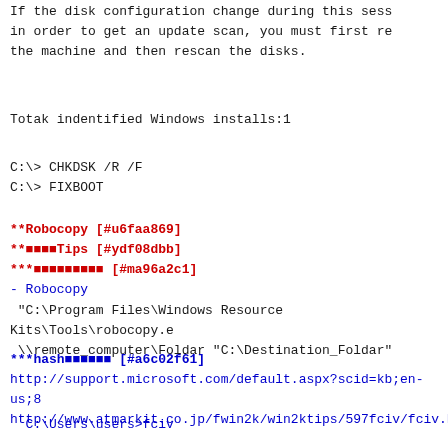If the disk configuration change during this session, in order to get an update scan, you must first reboot the machine and then rescan the disks.
Totak indentified Windows installs:1
C:\> CHKDSK /R /F
C:\> FIXBOOT
**Robocopy [#u6faa869]
**■■■■Tips [#ydf08dbb]
***■■■■■■■■■ [#ma96a2c1]
- Robocopy
"C:\Program Files\Windows Resource Kits\Tools\robocopy.e
\\remote_computer\Foldar "C:\Destination_Foldar"
***hash■■■■■■ [#a6c02f61]
http://support.microsoft.com/default.aspx?scid=kb;en-us;8
http://www.atmarkit.co.jp/fwin2k/win2ktips/597fciv/fciv.h
C:\Users\users>fciv
//
// File Checksum Integrity Verifier version 2.05.
//